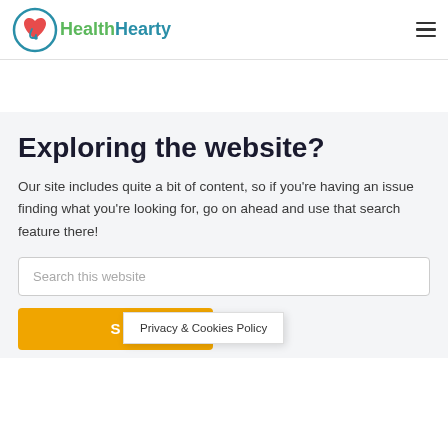[Figure (logo): HealthHearty logo with a heart and stethoscope icon on the left in red/teal, followed by 'HealthHearty' text in green and teal]
Exploring the website?
Our site includes quite a bit of content, so if you're having an issue finding what you're looking for, go on ahead and use that search feature there!
Search this website
Privacy & Cookies Policy